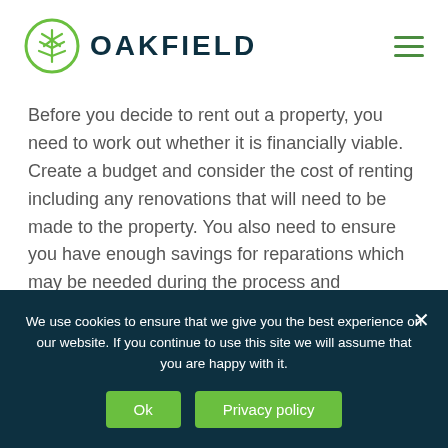OAKFIELD
Before you decide to rent out a property, you need to work out whether it is financially viable. Create a budget and consider the cost of renting including any renovations that will need to be made to the property. You also need to ensure you have enough savings for reparations which may be needed during the process and remember that you may have some periods
We use cookies to ensure that we give you the best experience on our website. If you continue to use this site we will assume that you are happy with it.
Ok  Privacy policy